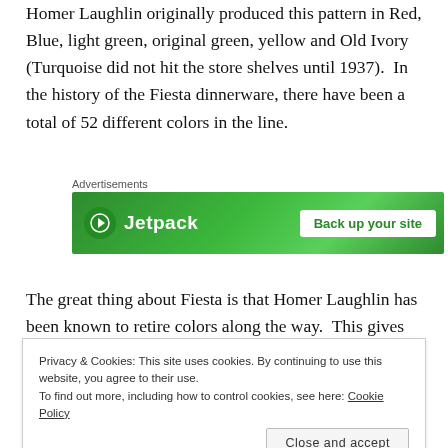Homer Laughlin originally produced this pattern in Red, Blue, light green, original green, yellow and Old Ivory (Turquoise did not hit the store shelves until 1937).  In the history of the Fiesta dinnerware, there have been a total of 52 different colors in the line.
[Figure (screenshot): Jetpack advertisement banner with green gradient background, Jetpack logo on left and 'Back up your site' button on right. Labeled 'Advertisements' above.]
The great thing about Fiesta is that Homer Laughlin has been known to retire colors along the way.  This gives
Privacy & Cookies: This site uses cookies. By continuing to use this website, you agree to their use.
To find out more, including how to control cookies, see here: Cookie Policy
and it is always fun to me to see what the new color is.